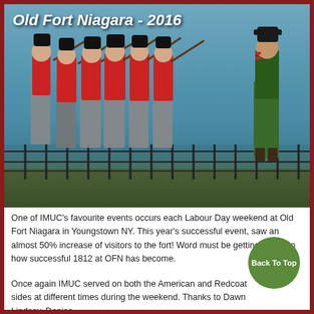[Figure (photo): Historical reenactment photo at Old Fort Niagara 2016. Soldiers in red British redcoat uniforms and one in green uniform, carrying muskets, standing near a waterfront fence with blue water and sky in the background. Title text overlaid reads 'Old Fort Niagara - 2016' in white bold italic.]
One of IMUC's favourite events occurs each Labour Day weekend at Old Fort Niagara in Youngstown NY. This year's successful event, saw an almost 50% increase of visitors to the fort! Word must be getting out as to how successful 1812 at OFN has become.
Once again IMUC served on both the American and Redcoat sides at different times during the weekend. Thanks to Dawn Lindsay, Denise ...